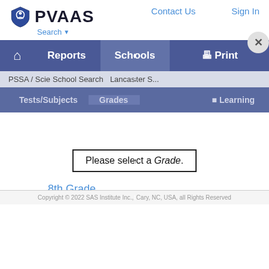[Figure (logo): PVAAS logo with shield icon and text]
Search ▾   Contact Us   Sign In
[Figure (screenshot): Blue navigation bar with Reports, Schools, Print, and close button]
PSSA / Science   School Search   Lancaster S...
Tests/Subjects   Grades   Learning
Please select a Grade.
8th Grade
Copyright © 2022 SAS Institute Inc., Cary, NC, USA, all Rights Reserved